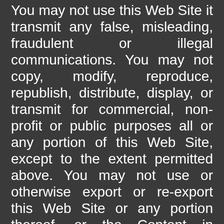You may not use this Web Site it transmit any false, misleading, fraudulent or illegal communications. You may not copy, modify, reproduce, republish, distribute, display, or transmit for commercial, non-profit or public purposes all or any portion of this Web Site, except to the extent permitted above. You may not use or otherwise export or re-export this Web Site or any portion thereof, or the Content in violation of the export control laws and regulations of the United States of America. Any unauthorized use of this Web Site or its Content is prohibited.